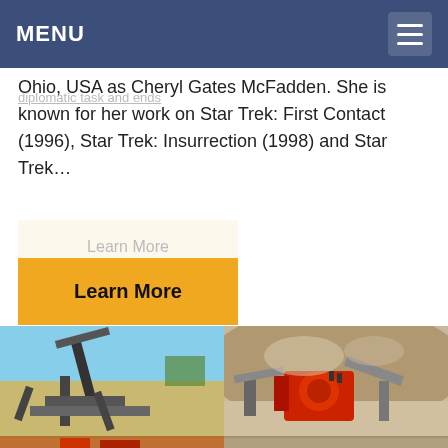MENU
Ohio, USA as Cheryl Gates McFadden. She is known for her work on Star Trek: First Contact (1996), Star Trek: Insurrection (1998) and Star Trek…
Learn More
Learn More
[Figure (photo): Industrial mining/crushing equipment with conveyor belts against a blue sky background]
[Figure (photo): Red industrial crushing machinery in a dusty quarry environment]
[Figure (photo): Partially visible industrial equipment at the bottom of the page]